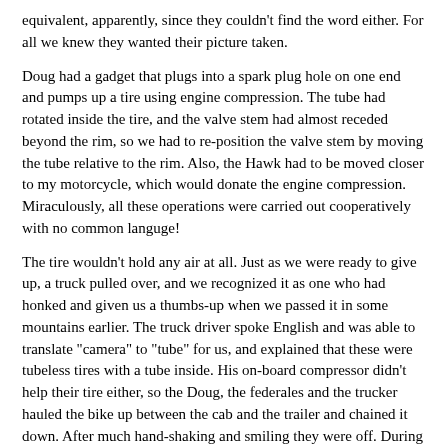equivalent, apparently, since they couldn't find the word either. For all we knew they wanted their picture taken.
Doug had a gadget that plugs into a spark plug hole on one end and pumps up a tire using engine compression. The tube had rotated inside the tire, and the valve stem had almost receded beyond the rim, so we had to re-position the valve stem by moving the tube relative to the rim. Also, the Hawk had to be moved closer to my motorcycle, which would donate the engine compression. Miraculously, all these operations were carried out cooperatively with no common languge!
The tire wouldn't hold any air at all. Just as we were ready to give up, a truck pulled over, and we recognized it as one who had honked and given us a thumbs-up when we passed it in some mountains earlier. The truck driver spoke English and was able to translate "camera" to "tube" for us, and explained that these were tubeless tires with a tube inside. His on-board compressor didn't help their tire either, so the Doug, the federales and the trucker hauled the bike up between the cab and the trailer and chained it down. After much hand-shaking and smiling they were off. During these operations, one of the federales kept staring at me, and I couldn't decide if he was offended that I was taking pictures or was bewildered by seeing a woman on a motorcycle. In any case, we hoped we did what we could to improve international relations.